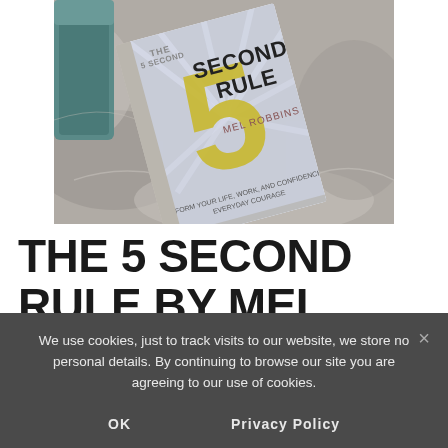[Figure (photo): Photo of 'The 5 Second Rule' book by Mel Robbins placed on a marble surface next to a teal mug. The book cover features a large golden number 5 with 'SECOND RULE' in bold letters and 'MEL ROBBINS' and subtitle 'TRANSFORM YOUR LIFE, WORK, AND CONFIDENCE WITH EVERYDAY COURAGE'.]
THE 5 SECOND RULE BY MEL
We use cookies, just to track visits to our website, we store no personal details. By continuing to browse our site you are agreeing to our use of cookies.
OK    Privacy Policy